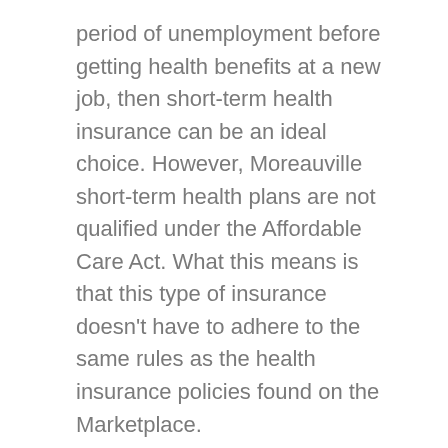period of unemployment before getting health benefits at a new job, then short-term health insurance can be an ideal choice. However, Moreauville short-term health plans are not qualified under the Affordable Care Act. What this means is that this type of insurance doesn't have to adhere to the same rules as the health insurance policies found on the Marketplace.
While short-term insurance does not offer the same level of coverage that you can expect from an ACA plan, it does have various advantages. Short-term insurance is a good solution for someone who doesn't want the added costs of ACA plans because they don't need all of the usual cover. For example, a healthy, young person may want to use short-term insurance as a temporary insurance solution, knowing that their general healthcare needs are minimal. However, most plans only last for